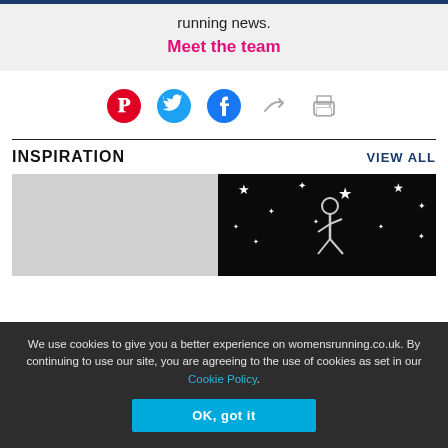running news.
Meet the team
[Figure (other): Social share icons: Pinterest, Twitter, Facebook, share arrow, print]
INSPIRATION
VIEW ALL
[Figure (photo): Grey placeholder image]
[Figure (illustration): Black background illustration of a person running at night with stars]
We use cookies to give you a better experience on womensrunning.co.uk. By continuing to use our site, you are agreeing to the use of cookies as set in our Cookie Policy.
OK, got it